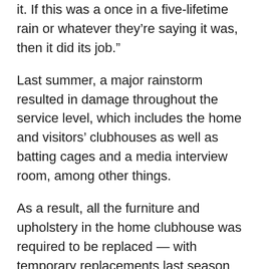it. If this was a once in a five-lifetime rain or whatever they’re saying it was, then it did its job.”
Last summer, a major rainstorm resulted in damage throughout the service level, which includes the home and visitors’ clubhouses as well as batting cages and a media interview room, among other things.
As a result, all the furniture and upholstery in the home clubhouse was required to be replaced — with temporary replacements last season and more permanent furniture and carpeting prior to the start of this season.
After the storm Thursday, the damage at Miller Park was no different than any other above-average rainstorm.
“Sort of ironically, the service level is bone dry, and then in some of the areas of offices on the field level we had a few